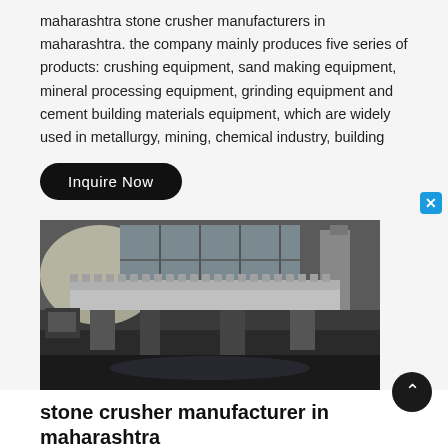maharashtra stone crusher manufacturers in maharashtra. the company mainly produces five series of products: crushing equipment, sand making equipment, mineral processing equipment, grinding equipment and cement building materials equipment, which are widely used in metallurgy, mining, chemical industry, building
[Figure (photo): Industrial stone crusher machinery in a factory setting, showing large toothed crusher rollers and heavy equipment on a workshop floor]
stone crusher manufacturer in maharashtra
stone crusher manufacturer in maharashtra. in , he set up a